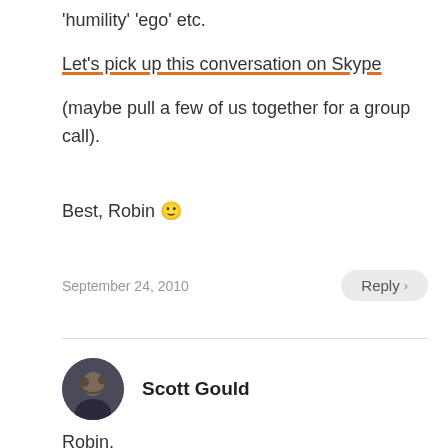'humility' 'ego' etc.
Let's pick up this conversation on Skype (maybe pull a few of us together for a group call).
Best, Robin 🙂
September 24, 2010
Reply >
Scott Gould
Robin,
Thanks for making this clearer.